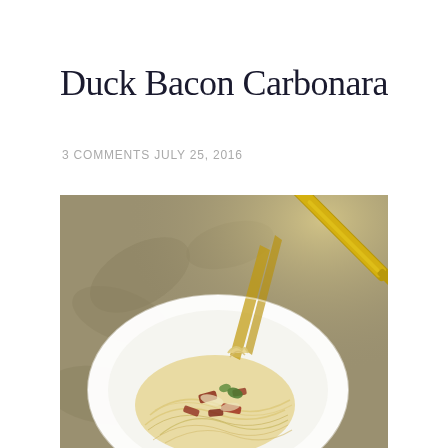Duck Bacon Carbonara
3 COMMENTS JULY 25, 2016
[Figure (photo): Close-up photo of a white plate of spaghetti carbonara with duck bacon pieces and herbs, with a golden fork picking up the pasta, set against a decorative patterned background.]